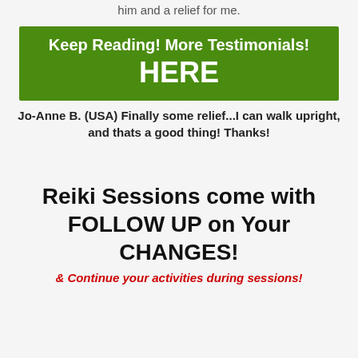him and a relief for me.
[Figure (other): Green banner with white text reading 'Keep Reading! More Testimonials! HERE']
Jo-Anne B. (USA) Finally some relief...I can walk upright, and thats a good thing! Thanks!
Reiki Sessions come with FOLLOW UP on Your CHANGES!
& Continue your activities during sessions!